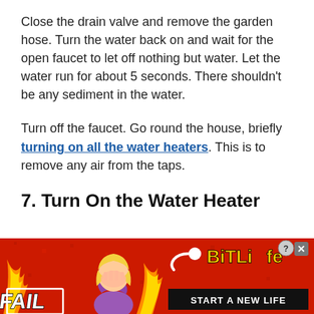Close the drain valve and remove the garden hose. Turn the water back on and wait for the open faucet to let off nothing but water. Let the water run for about 5 seconds. There shouldn't be any sediment in the water.
Turn off the faucet. Go round the house, briefly turning on all the water heaters. This is to remove any air from the taps.
7. Turn On the Water Heater
[Figure (illustration): Advertisement banner for BitLife game with red background, 'FAIL' text on left, cartoon blonde character facepalming, orange flames, BitLife logo with sperm icon in yellow text, and 'START A NEW LIFE' in black bar on right. Close/X buttons top right.]